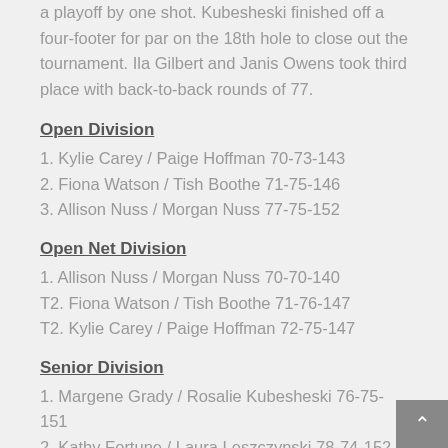a playoff by one shot. Kubesheski finished off a four-footer for par on the 18th hole to close out the tournament. Ila Gilbert and Janis Owens took third place with back-to-back rounds of 77.
Open Division
1. Kylie Carey / Paige Hoffman 70-73-143
2. Fiona Watson / Tish Boothe 71-75-146
3. Allison Nuss / Morgan Nuss 77-75-152
Open Net Division
1. Allison Nuss / Morgan Nuss 70-70-140
T2. Fiona Watson / Tish Boothe 71-76-147
T2. Kylie Carey / Paige Hoffman 72-75-147
Senior Division
1. Margene Grady / Rosalie Kubesheski 76-75-151
2. Kathy Fortune / Laura Leszczynski 78-74-152